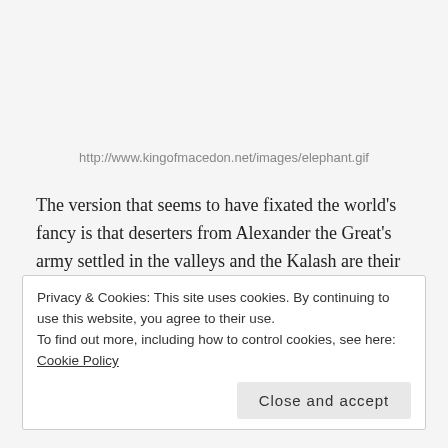http://www.kingofmacedon.net/images/elephant.gif
The version that seems to have fixated the world's fancy is that deserters from Alexander the Great's army settled in the valleys and the Kalash are their progeny — or perhaps even Alexander's himself,  although that would make them swarthy Macedonians, a tad disappointing. Rudyarad Kipling's The Man Who Would be King
Privacy & Cookies: This site uses cookies. By continuing to use this website, you agree to their use.
To find out more, including how to control cookies, see here: Cookie Policy
Close and accept